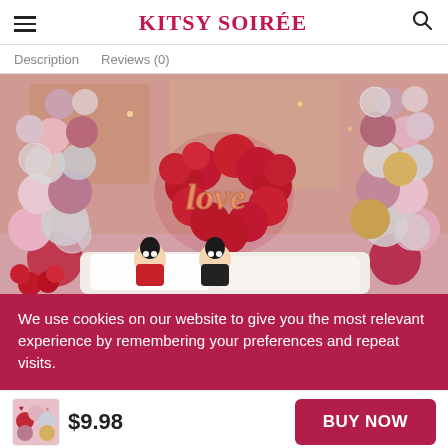KITSY SOIRÉE
Description   Reviews (0)
[Figure (photo): Romantic balloon decoration setup with pink, red, white, and gold balloons forming garland arches on either side. A heart-shaped cluster of red balloons in the center features a rose-gold foil 'love' balloon sign. Two couple dolls dressed in traditional Chinese wedding outfits sit at the base. Red roses are visible in the foreground.]
We use cookies on our website to give you the most relevant experience by remembering your preferences and repeat visits.
$9.98
BUY NOW